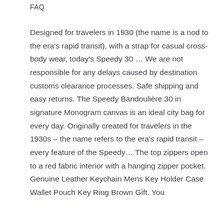FAQ
Designed for travelers in 1930 (the name is a nod to the era's rapid transit), with a strap for casual cross-body wear, today's Speedy 30 … We are not responsible for any delays caused by destination customs clearance processes. Safe shipping and easy returns. The Speedy Bandoulière 30 in signature Monogram canvas is an ideal city bag for every day. Originally created for travelers in the 1930s – the name refers to the era's rapid transit – every feature of the Speedy… The top zippers open to a red fabric interior with a hanging zipper pocket. Genuine Leather Keychain Mens Key Holder Case Wallet Pouch Key Ring Brown Gift. You